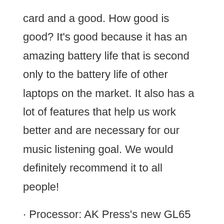card and a good. How good is good? It's good because it has an amazing battery life that is second only to the battery life of other laptops on the market. It also has a lot of features that help us work better and are necessary for our music listening goal. We would definitely recommend it to all people!
· Processor: AK Press's new GL65 A12-97 processor. With this processor, you can download multiple musics at one time without any lag or interruption.
Specifications:
. Memory: 4GB x 8GB GDDR5,